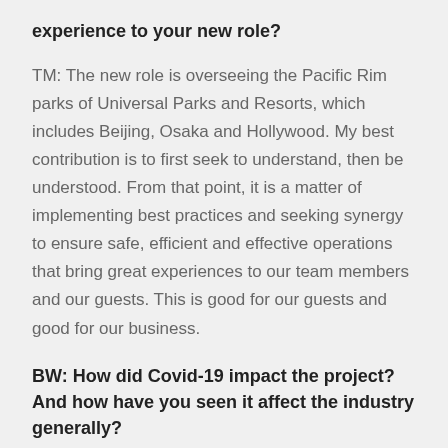experience to your new role?
TM: The new role is overseeing the Pacific Rim parks of Universal Parks and Resorts, which includes Beijing, Osaka and Hollywood. My best contribution is to first seek to understand, then be understood. From that point, it is a matter of implementing best practices and seeking synergy to ensure safe, efficient and effective operations that bring great experiences to our team members and our guests. This is good for our guests and good for our business.
BW: How did Covid-19 impact the project? And how have you seen it affect the industry generally?
TM: The global pandemic has touched every park in the